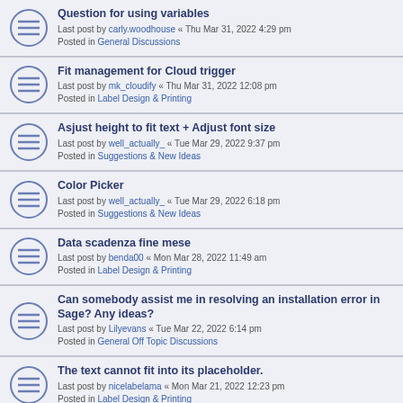Question for using variables
Last post by carly.woodhouse « Thu Mar 31, 2022 4:29 pm
Posted in General Discussions
Fit management for Cloud trigger
Last post by mk_cloudify « Thu Mar 31, 2022 12:08 pm
Posted in Label Design & Printing
Asjust height to fit text + Adjust font size
Last post by well_actually_ « Tue Mar 29, 2022 9:37 pm
Posted in Suggestions & New Ideas
Color Picker
Last post by well_actually_ « Tue Mar 29, 2022 6:18 pm
Posted in Suggestions & New Ideas
Data scadenza fine mese
Last post by benda00 « Mon Mar 28, 2022 11:49 am
Posted in Label Design & Printing
Can somebody assist me in resolving an installation error in Sage? Any ideas?
Last post by Lilyevans « Tue Mar 22, 2022 6:14 pm
Posted in General Off Topic Discussions
The text cannot fit into its placeholder.
Last post by nicelabelama « Mon Mar 21, 2022 12:23 pm
Posted in Label Design & Printing
Pick start data row
Last post by donwynne « Mon Mar 21, 2022 8:18 am
Posted in Label Design & Printing
Dynamically Resize Data Initialization Column based on